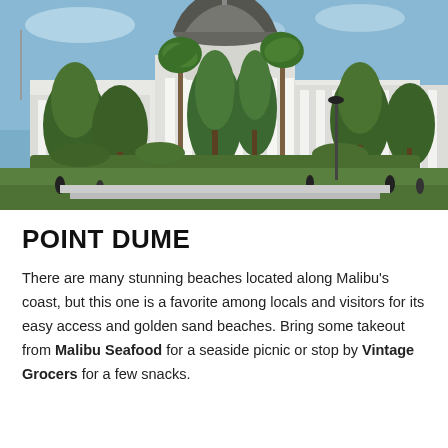[Figure (photo): Photograph of a large white neoclassical government building with a prominent dome, tall columns, and palm trees and other green trees in the foreground. Several people are visible on the grounds. Blue sky in the background.]
POINT DUME
There are many stunning beaches located along Malibu's coast, but this one is a favorite among locals and visitors for its easy access and golden sand beaches. Bring some takeout from Malibu Seafood for a seaside picnic or stop by Vintage Grocers for a few snacks.